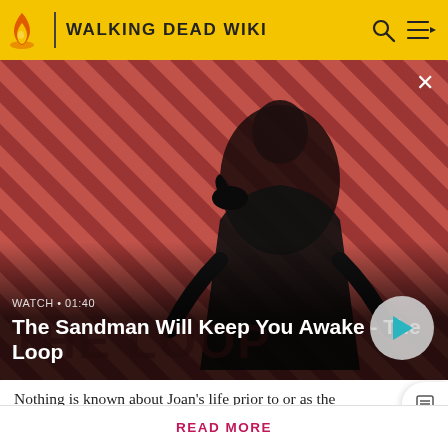WALKING DEAD WIKI
[Figure (screenshot): Video thumbnail showing a dark-cloaked figure with a raven on shoulder against a red and dark diagonal striped background. Text overlay: WATCH • 01:40, The Sandman Will Keep You Awake - The Loop. Play button on the right.]
Nothing is known about Joan's life prior to or as the
Attention! Please be aware that spoilers are not allowed on the wiki and a violation of this policy may result in a ban.
READ MORE